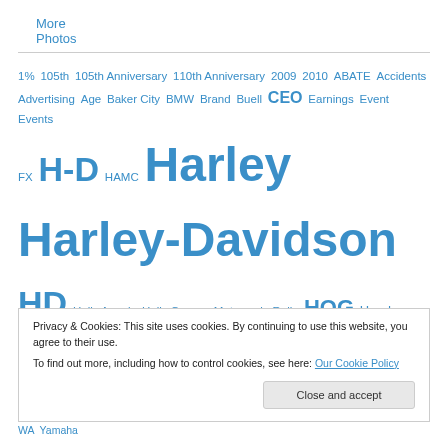More Photos
1% 105th 105th Anniversary 110th Anniversary 2009 2010 ABATE Accidents Advertising Age Baker City BMW Brand Buell CEO Earnings Event Events FX H-D HAMC Harley Harley-Davidson HD Hells Angels Hells Canyon Motorcycle Rally HOG Honda Idaho Indian Keith E. Wandell Keith Wandell Las Vegas Laughlin Laughlin River Run Legal Legislation Leo Mark-Hans Richer marketing Milwaukee Montana
Privacy & Cookies: This site uses cookies. By continuing to use this website, you agree to their use.
To find out more, including how to control cookies, see here: Our Cookie Policy
WA Yamaha